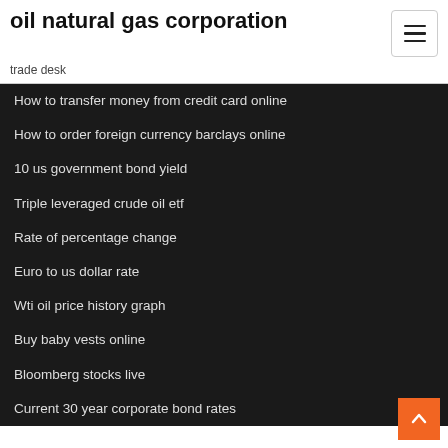oil natural gas corporation
trade desk
How to transfer money from credit card online
How to order foreign currency barclays online
10 us government bond yield
Triple leveraged crude oil etf
Rate of percentage change
Euro to us dollar rate
Wti oil price history graph
Buy baby vests online
Bloomberg stocks live
Current 30 year corporate bond rates